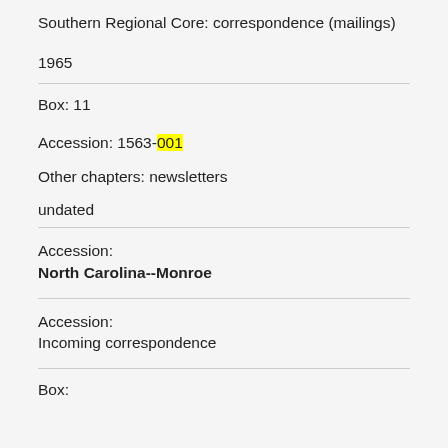Southern Regional Core: correspondence (mailings)
1965
Box: 11
Accession: 1563-001
Other chapters: newsletters
undated
Accession:
North Carolina--Monroe
Accession:
Incoming correspondence
Box: